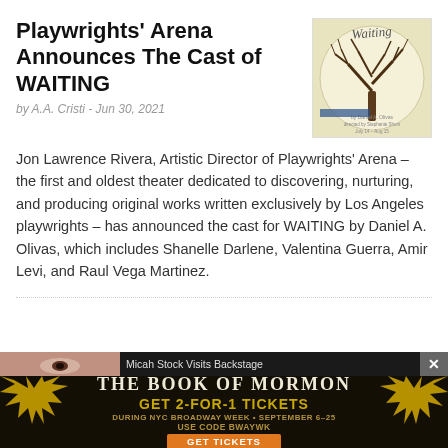Playwrights' Arena Announces The Cast of WAITING
by A.A. Cristi - Jun 30, 2021
[Figure (illustration): Book cover or poster for WAITING showing a bare tree silhouette against a circular background with handwritten-style title 'Waiting']
Jon Lawrence Rivera, Artistic Director of Playwrights' Arena – the first and oldest theater dedicated to discovering, nurturing, and producing original works written exclusively by Los Angeles playwrights – has announced the cast for WAITING by Daniel A. Olivas, which includes Shanelle Darlene, Valentina Guerra, Amir Levi, and Raul Vega Martinez.
[Figure (photo): Person's face partially visible - ad thumbnail for Micah Stock Visits Backstage]
Micah Stock Visits Backstage
[Figure (infographic): Advertisement for The Book of Mormon musical. GET 2-FOR-1 TICKETS DURING NYC BROADWAY WEEK • SEPTEMBER 6–25 USE CODE BWAYWK GET TICKETS]